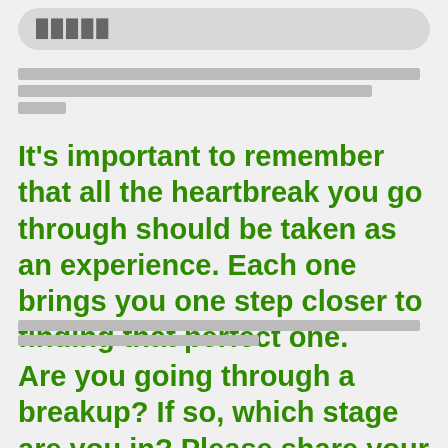█████
████████████████████████████████████████████████████████████████████████████████████████████ ██
It's important to remember that all the heartbreak you go through should be taken as an experience. Each one brings you one step closer to finding that perfect one.
████████████████████████████████████████████████████
Are you going through a breakup? If so, which stage are you in? Please share your thoughts with us below.
███████████████████████████████████████████████